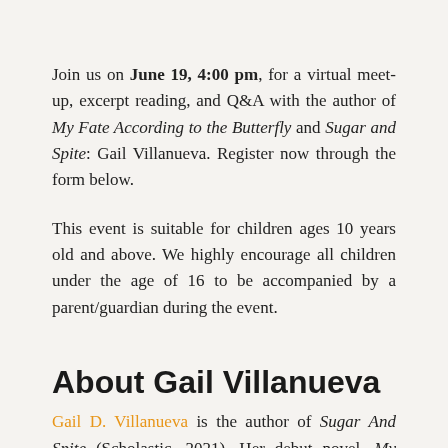Join us on June 19, 4:00 pm, for a virtual meet-up, excerpt reading, and Q&A with the author of My Fate According to the Butterfly and Sugar and Spite: Gail Villanueva. Register now through the form below.
This event is suitable for children ages 10 years old and above. We highly encourage all children under the age of 16 to be accompanied by a parent/guardian during the event.
About Gail Villanueva
Gail D. Villanueva is the author of Sugar And Spite (Scholastic, 2021). Her debut novel, My Fate According...